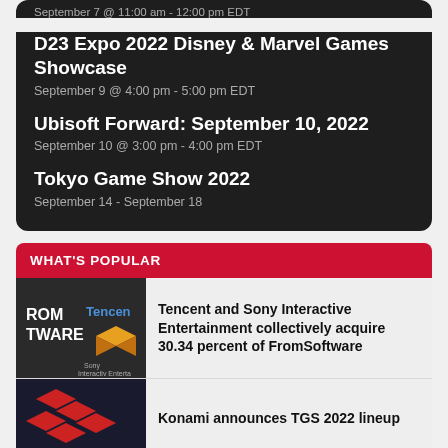September 7 @ 11:00 am - 12:00 pm EDT
D23 Expo 2022 Disney & Marvel Games Showcase
September 9 @ 4:00 pm - 5:00 pm EDT
Ubisoft Forward: September 10, 2022
September 10 @ 3:00 pm - 4:00 pm EDT
Tokyo Game Show 2022
September 14 - September 18
WHAT'S POPULAR
Tencent and Sony Interactive Entertainment collectively acquire 30.34 percent of FromSoftware
Konami announces TGS 2022 lineup